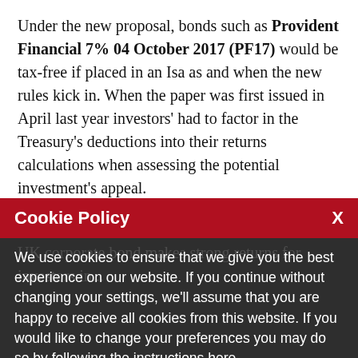Under the new proposal, bonds such as Provident Financial 7% 04 October 2017 (PF17) would be tax-free if placed in an Isa as and when the new rules kick in. When the paper was first issued in April last year investors' had to factor in the Treasury's deductions into their returns calculations when assessing the potential investment's appeal.
Cookie Policy  X
We use cookies to ensure that we give you the best experience on our website. If you continue without changing your settings, we'll assume that you are happy to receive all cookies from this website. If you would like to change your preferences you may do so by following the instructions here.